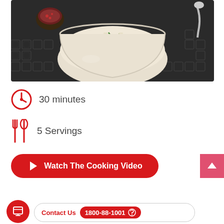[Figure (photo): A bowl of fried rice with vegetables, mushrooms, and garnished with green onions, served on a black and white patterned tablecloth with a small bowl of sauce in the background]
30 minutes
5 Servings
Watch The Cooking Video
Contact Us  1800-88-1001